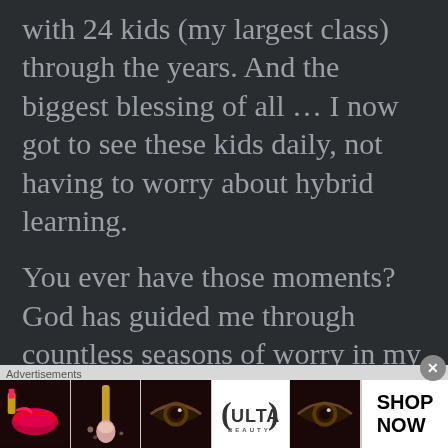with 24 kids (my largest class) through the years. And the biggest blessing of all ... I now got to see these kids daily, not having to worry about hybrid learning.
You ever have those moments? God has guided me through countless seasons of worry in my life before. Would He ever stop? His Word tells me to trust. Not to fear. To put my full confidence in His ability to navigate
Advertisements
[Figure (other): Ulta Beauty advertisement banner showing cosmetic product images including lipstick, makeup brush, eye makeup, Ulta logo, and a Shop Now button]